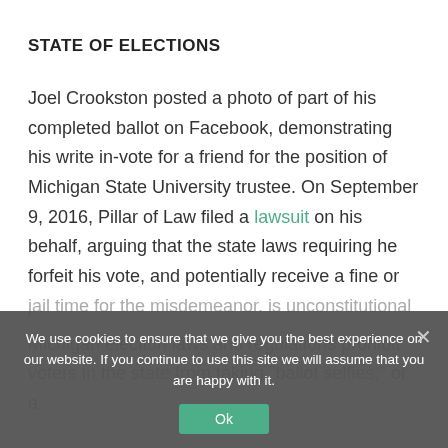STATE OF ELECTIONS
Joel Crookston posted a photo of part of his completed ballot on Facebook, demonstrating his write in-vote for a friend for the position of Michigan State University trustee. On September 9, 2016, Pillar of Law filed a lawsuit on his behalf, arguing that the state laws requiring he forfeit his vote, and potentially receive a fine or jail time for the misdemeanor, is unconstitutional
Michigan election laws and regulations prohibit voters in the state from taking "ballot selfies," or a
We use cookies to ensure that we give you the best experience on our website. If you continue to use this site we will assume that you are happy with it.